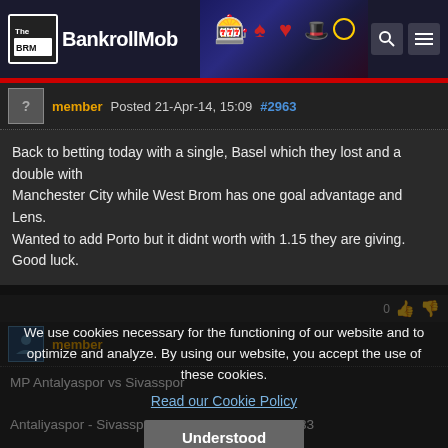The BankrollMob
Posted 21-Apr-14, 15:09 #2963
Back to betting today with a single, Basel which they lost and a double with Manchester City while West Brom has one goal advantage and Lens. Wanted to add Porto but it didnt worth with 1.15 they are giving. Good luck.
MP Antalyaspor vs Sivasspor
Antaliyaspor - Sivasspor, over 2.5 goals, odds 1,83
The real spectacle is expected in the duel of this two teams, when it comes to goals, and I think there will be on both sides. The host
We use cookies necessary for the functioning of our website and to optimize and analyze. By using our website, you accept the use of these cookies.
Read our Cookie Policy
Understood